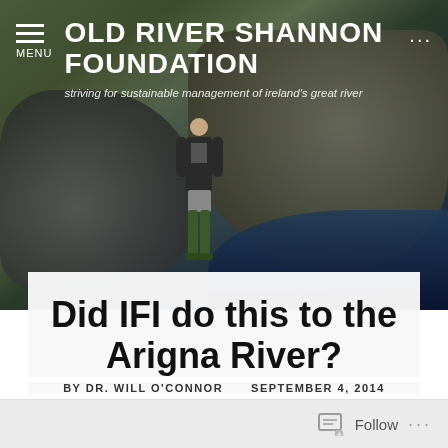[Figure (photo): Hero image of a person standing in a rocky river landscape with stone walls and water, overlaid with the Old River Shannon Foundation website header]
OLD RIVER SHANNON FOUNDATION — striving for sustainable management of ireland's great river
Did IFI do this to the Arigna River?
BY DR. WILL O'CONNOR   SEPTEMBER 4, 2014